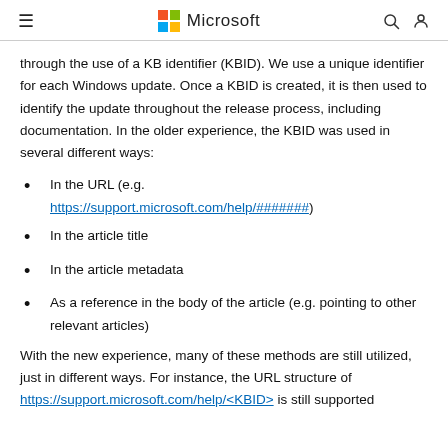Microsoft
through the use of a KB identifier (KBID). We use a unique identifier for each Windows update. Once a KBID is created, it is then used to identify the update throughout the release process, including documentation. In the older experience, the KBID was used in several different ways:
In the URL (e.g. https://support.microsoft.com/help/#######)
In the article title
In the article metadata
As a reference in the body of the article (e.g. pointing to other relevant articles)
With the new experience, many of these methods are still utilized, just in different ways. For instance, the URL structure of https://support.microsoft.com/help/<KBID> is still supported